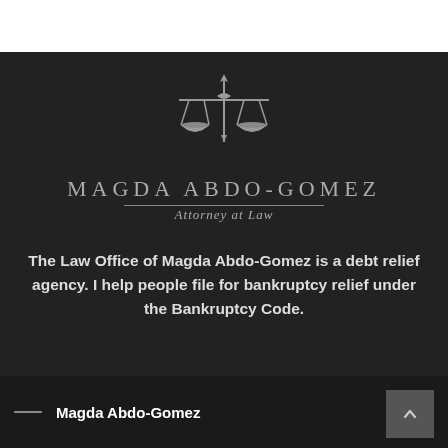[Figure (logo): Scales of justice logo for Magda Abdo-Gomez Attorney at Law — gray scales emblem on dark background with name 'MAGDA ABDO-GOMEZ' in serif caps and 'Attorney at Law' in italic script below]
The Law Office of Magda Abdo-Gomez is a debt relief agency. I help people file for bankruptcy relief under the Bankruptcy Code.
— Magda Abdo-Gomez
By Appointment Only